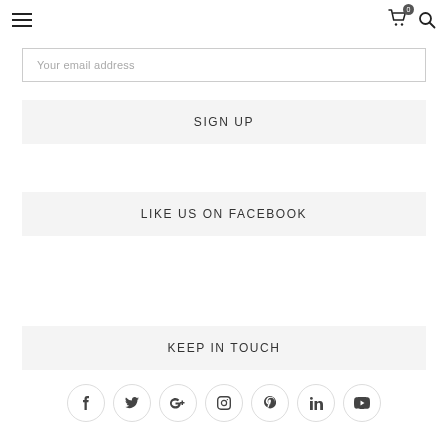Navigation bar with hamburger menu, cart icon (0), and search icon
Your email address
SIGN UP
LIKE US ON FACEBOOK
KEEP IN TOUCH
[Figure (infographic): Row of 7 social media icon buttons in circles: Facebook (f), Twitter (bird), Google+ (G+), Instagram (camera), Pinterest (P), LinkedIn (in), YouTube (play)]